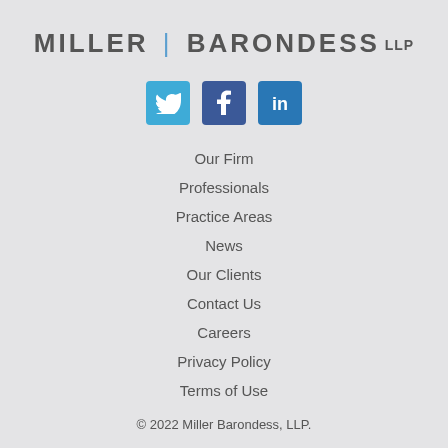[Figure (logo): Miller Barondess LLP law firm logo with social media icons (Twitter, Facebook, LinkedIn)]
Our Firm
Professionals
Practice Areas
News
Our Clients
Contact Us
Careers
Privacy Policy
Terms of Use
© 2022 Miller Barondess, LLP.